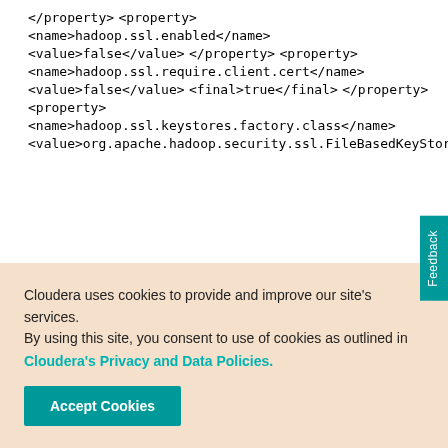</property>
<property>
<name>hadoop.ssl.enabled</name>
<value>false</value>
</property>
<property>
<name>hadoop.ssl.require.client.cert</name>
<value>false</value>
<final>true</final>
</property>
<property>
<name>hadoop.ssl.keystores.factory.class</name>
<value>org.apache.hadoop.security.ssl.FileBasedKeyStoresFac
Cloudera uses cookies to provide and improve our site's services. By using this site, you consent to use of cookies as outlined in Cloudera's Privacy and Data Policies.
Accept Cookies